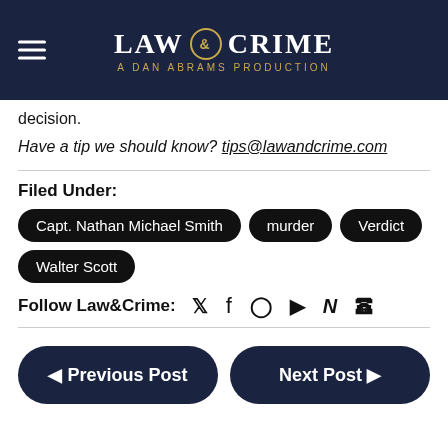LAW & CRIME — A DAN ABRAMS PRODUCTION
decision.
Have a tip we should know? tips@lawandcrime.com
Filed Under:
Capt. Nathan Michael Smith
murder
Verdict
Walter Scott
Follow Law&Crime:
◄ Previous Post   Next Post ►